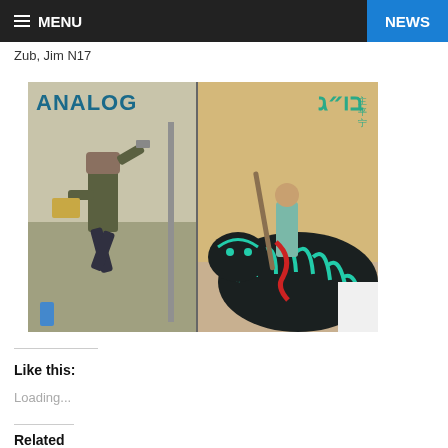≡ MENU | NEWS
Zub, Jim N17
[Figure (illustration): Two comic book covers side by side. Left cover: 'ANALOG' showing a man in suit running while holding a gun and briefcase. Right cover: shows a warrior woman riding a large teal-striped tiger, holding weapons, with Asian characters visible.]
Like this:
Loading...
Related